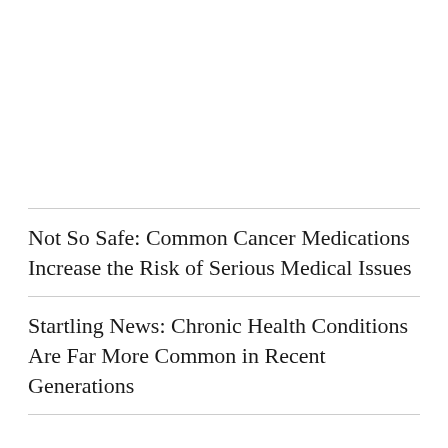Not So Safe: Common Cancer Medications Increase the Risk of Serious Medical Issues
Startling News: Chronic Health Conditions Are Far More Common in Recent Generations